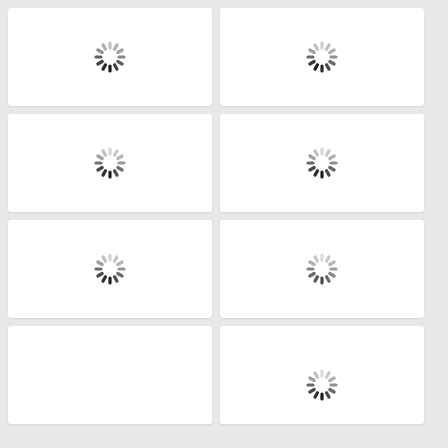[Figure (illustration): Loading spinner icon, darker strokes at bottom]
[Figure (illustration): Loading spinner icon, darker strokes at bottom-left]
[Figure (illustration): Loading spinner icon, darker strokes at bottom]
[Figure (illustration): Loading spinner icon, darker strokes at bottom]
[Figure (illustration): Loading spinner icon, darker strokes at bottom]
[Figure (illustration): Loading spinner icon, all light gray strokes]
[Figure (illustration): Loading spinner icon, partially visible, darker strokes at bottom]
[Figure (illustration): Loading spinner icon, partially visible, darker strokes at bottom]